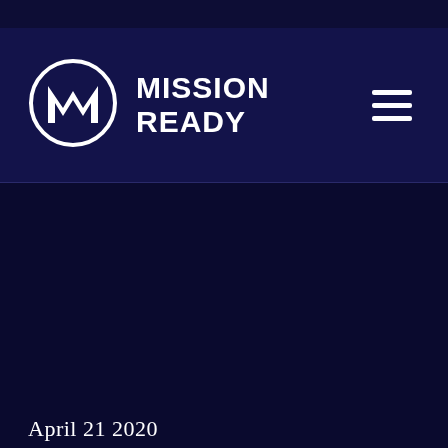[Figure (logo): Mission Ready logo: circular M emblem with MISSION READY text beside it]
April 21 2020